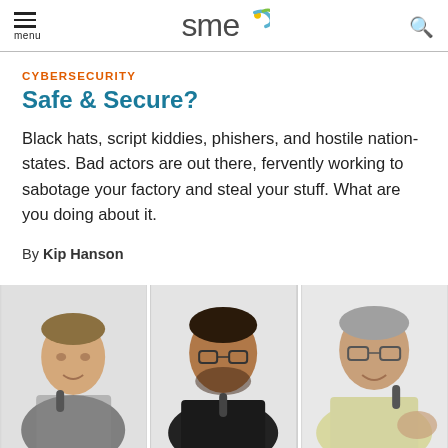menu | SME | search
CYBERSECURITY
Safe & Secure?
Black hats, script kiddies, phishers, and hostile nation-states. Bad actors are out there, fervently working to sabotage your factory and steal your stuff. What are you doing about it.
By Kip Hanson
[Figure (photo): Three men speaking at a panel event, each holding a microphone. Left: man in patterned shirt. Center: man with glasses in black shirt. Right: older man with glasses in light shirt.]